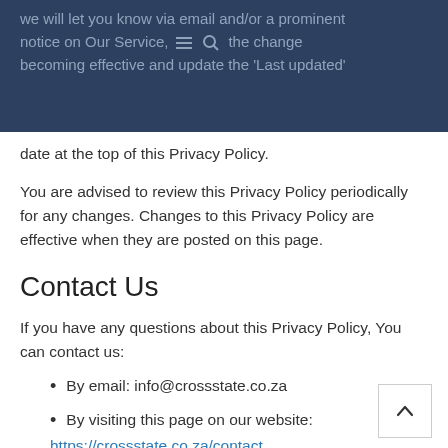we will let you know via email and/or a prominent notice on Our Service, prior to the change becoming effective and update the 'Last updated' date at the top of this Privacy Policy.
date at the top of this Privacy Policy.
You are advised to review this Privacy Policy periodically for any changes. Changes to this Privacy Policy are effective when they are posted on this page.
Contact Us
If you have any questions about this Privacy Policy, You can contact us:
By email: info@crossstate.co.za
By visiting this page on our website: https://crossstate.co.za/contact